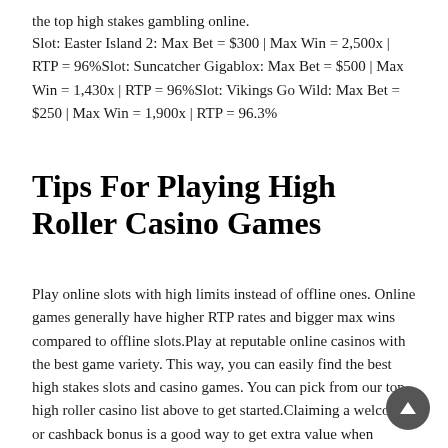the top high stakes gambling online.
Slot: Easter Island 2: Max Bet = $300 | Max Win = 2,500x | RTP = 96%Slot: Suncatcher Gigablox: Max Bet = $500 | Max Win = 1,430x | RTP = 96%Slot: Vikings Go Wild: Max Bet = $250 | Max Win = 1,900x | RTP = 96.3%
Tips For Playing High Roller Casino Games
Play online slots with high limits instead of offline ones. Online games generally have higher RTP rates and bigger max wins compared to offline slots.Play at reputable online casinos with the best game variety. This way, you can easily find the best high stakes slots and casino games. You can pick from our top high roller casino list above to get started.Claiming a welcome or cashback bonus is a good way to get extra value when starting on a new casino site.Pick slots with high betting limits. These can range from $1 – $300+ per spin.Choose online slots with high RTP %, and good free spins/bonus features.Ensure the casino offers high roller payment methods like Bank